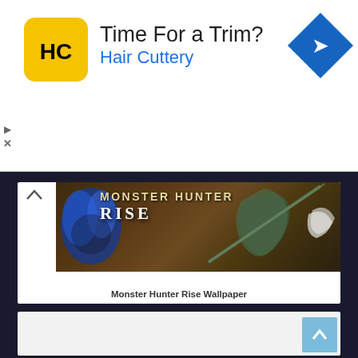[Figure (screenshot): Hair Cuttery advertisement banner with yellow HC logo, text 'Time For a Trim?' and 'Hair Cuttery' in blue, and a blue diamond navigation icon on the right.]
[Figure (photo): Monster Hunter Rise video game promotional image showing a hunter character with a weapon against a dramatic background with blue wing decorations and the MONSTER HUNTER RISE logo.]
Monster Hunter Rise Wallpaper
[Figure (screenshot): White empty card section with a light blue 'back to top' arrow button in the bottom right corner.]